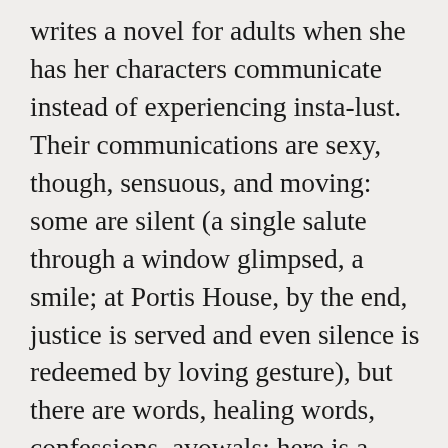writes a novel for adults when she has her characters communicate instead of experiencing insta-lust. Their communications are sexy, though, sensuous, and moving: some are silent (a single salute through a window glimpsed, a smile; at Portis House, by the end, justice is served and even silence is redeemed by loving gesture), but there are words, healing words, confessions, avowals; here is a sampling, “I felt the stirrings of a burning, angry dissatisfaction. I started trying to understand … angry words like Mons and Passchendaele